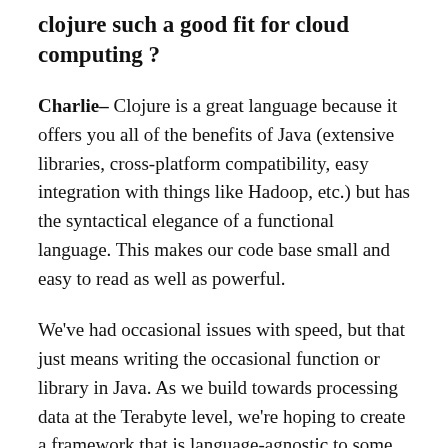clojure such a good fit for cloud computing ?
Charlie- Clojure is a great language because it offers you all of the benefits of Java (extensive libraries, cross-platform compatibility, easy integration with things like Hadoop, etc.) but has the syntactical elegance of a functional language. This makes our code base small and easy to read as well as powerful.
We've had occasional issues with speed, but that just means writing the occasional function or library in Java. As we build towards processing data at the Terabyte level, we're hoping to create a framework that is language-agnostic to some extent. So if we have some